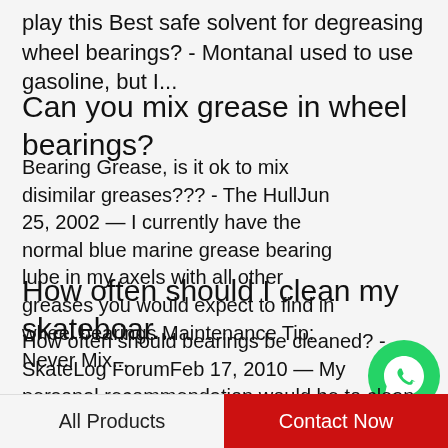play this Best safe solvent for degreasing wheel bearings? - MontanaI used to use gasoline, but I...
Can you mix grease in wheel bearings?
Bearing Grease, is it ok to mix disimilar greases??? - The HullJun 25, 2002 — I currently have the normal blue marine grease bearing lube in my axels with all other greases you would expect to find in wheel bearings Maintenance Tip: Never Mix...
[Figure (logo): WhatsApp green phone icon with WhatsApp Online label]
How often should I clean my skateboar...
How often should bearings be cleaned? - SkateLog ForumFeb 17, 2010 — My personal recommendation would be to clean your bearings once or twice a year. Quite honestly, I never clean my bearings, and I skate 12-20  When to replace skateboard...
All Products    Contact Now